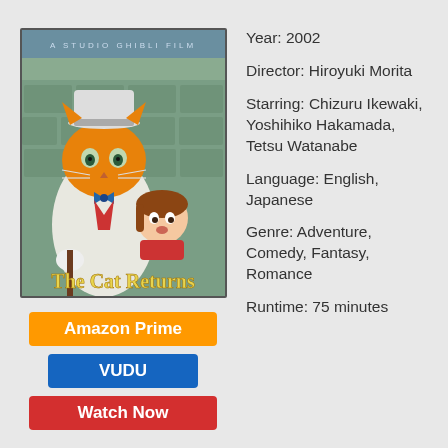[Figure (illustration): The Cat Returns Studio Ghibli movie poster showing an anthropomorphic orange cat in a white top hat and suit alongside a young girl with brown hair, set against a stone wall background. Text reads 'A STUDIO GHIBLI FILM' and 'The Cat Returns' in large yellow letters.]
Amazon Prime
VUDU
Watch Now
Year: 2002
Director: Hiroyuki Morita
Starring: Chizuru Ikewaki, Yoshihiko Hakamada, Tetsu Watanabe
Language: English, Japanese
Genre: Adventure, Comedy, Fantasy, Romance
Runtime: 75 minutes